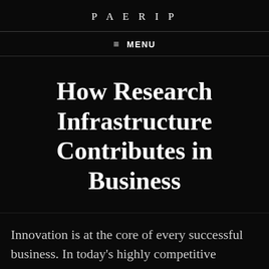PAERIP
≡ MENU
How Research Infrastructure Contributes in Business
Innovation is at the core of every successful business. In today's highly competitive environment, any ambitious organization must embrace modernization to stay ahead